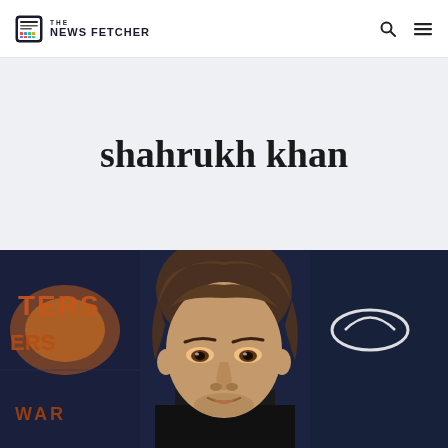THE NEWS FETCHER
shahrukh khan
[Figure (photo): Man in dark suit at a movie premiere red carpet event with 'Avengers Infinity War' backdrop and Infiniti car logo visible]